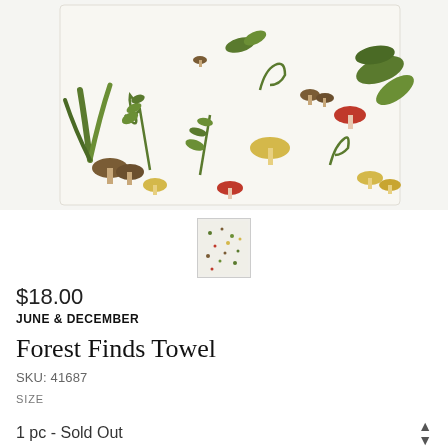[Figure (photo): A white kitchen/dish towel with printed botanical illustrations of mushrooms, ferns, leaves and forest plants in green, brown, red, and yellow colors.]
[Figure (photo): Small thumbnail image of the Forest Finds Towel showing a small preview of the pattern.]
$18.00
JUNE & DECEMBER
Forest Finds Towel
SKU: 41687
SIZE
1 pc - Sold Out